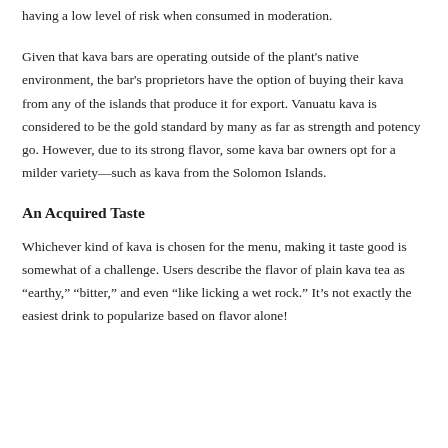having a low level of risk when consumed in moderation.
Given that kava bars are operating outside of the plant's native environment, the bar's proprietors have the option of buying their kava from any of the islands that produce it for export. Vanuatu kava is considered to be the gold standard by many as far as strength and potency go. However, due to its strong flavor, some kava bar owners opt for a milder variety—such as kava from the Solomon Islands.
An Acquired Taste
Whichever kind of kava is chosen for the menu, making it taste good is somewhat of a challenge. Users describe the flavor of plain kava tea as “earthy,” “bitter,” and even “like licking a wet rock.” It’s not exactly the easiest drink to popularize based on flavor alone!